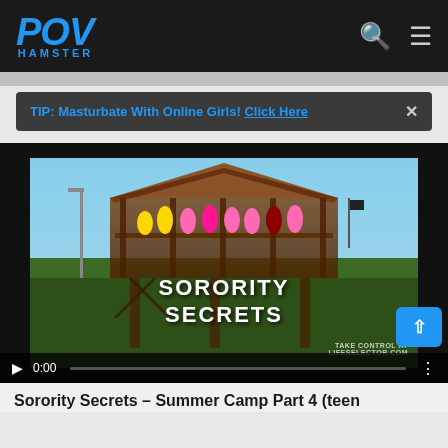POV HAMSTER
TIP: Masturbate With Online Girls! Click Here
[Figure (screenshot): Video player showing 'Sorority Secrets' title screen with group of women on a wooden lodge balcony. Controls show 0:00 timestamp. Watermark reads TAKE CONTROL AT LIFESELECTOR.COM]
Sorority Secrets – Summer Camp Part 4 (teen